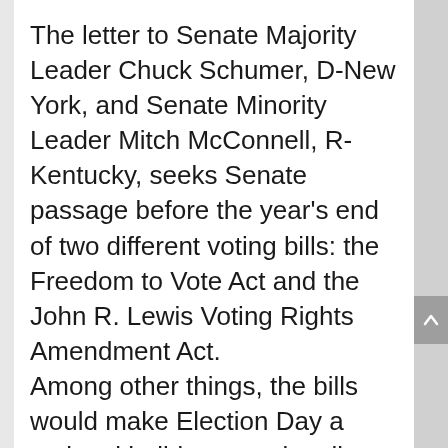The letter to Senate Majority Leader Chuck Schumer, D-New York, and Senate Minority Leader Mitch McConnell, R-Kentucky, seeks Senate passage before the year's end of two different voting bills: the Freedom to Vote Act and the John R. Lewis Voting Rights Amendment Act.
Among other things, the bills would make Election Day a national holiday, permit online registration and same-day voter registration, ensure two weeks of early voting and work to prevent voter